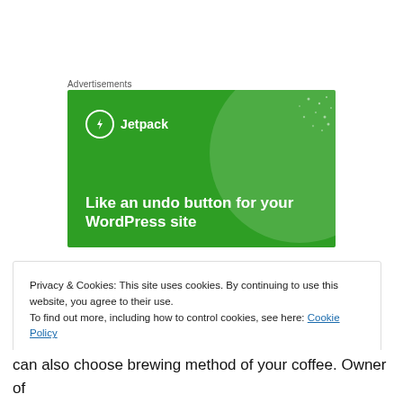Advertisements
[Figure (illustration): Jetpack advertisement banner with green background, Jetpack logo with lightning bolt icon, circular decorative element, dot pattern, and white bold text reading 'Like an undo button for your WordPress site']
Privacy & Cookies: This site uses cookies. By continuing to use this website, you agree to their use.
To find out more, including how to control cookies, see here: Cookie Policy
can also choose brewing method of your coffee. Owner of